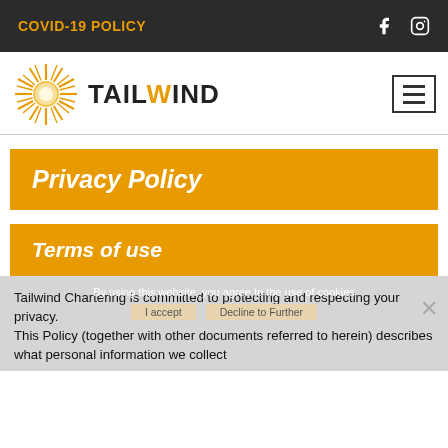COVID-19 POLICY
[Figure (logo): Tailwind sunburst logo with text TAILWIND]
Privacy Policy
Terms of use
Tailwind Chartering is committed to protecting and respecting your privacy. This Policy (together with other documents referred to herein) describes what personal information we collect